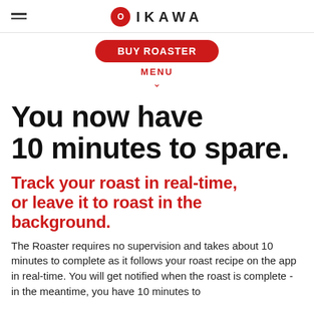OIKAWA
BUY ROASTER
MENU
You now have 10 minutes to spare.
Track your roast in real-time, or leave it to roast in the background.
The Roaster requires no supervision and takes about 10 minutes to complete as it follows your roast recipe on the app in real-time. You will get notified when the roast is complete - in the meantime, you have 10 minutes to